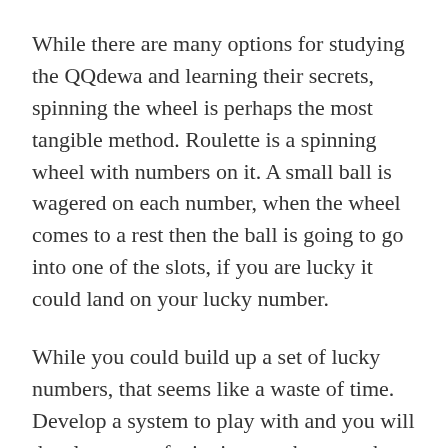While there are many options for studying the QQdewa and learning their secrets, spinning the wheel is perhaps the most tangible method. Roulette is a spinning wheel with numbers on it. A small ball is wagered on each number, when the wheel comes to a rest then the ball is going to go into one of the slots, if you are lucky it could land on your lucky number.
While you could build up a set of lucky numbers, that seems like a waste of time. Develop a system to play with and you will develop a set of winning numbers much faster.
That is the easiest part. Getting everyone to share the same secret and learn how to play together in a pool is the hard part. Meeting new people, finding out new methods and finding out what you can all put together could...